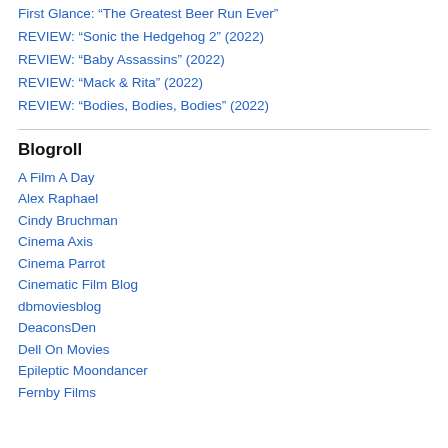First Glance: “The Greatest Beer Run Ever”
REVIEW: “Sonic the Hedgehog 2” (2022)
REVIEW: “Baby Assassins” (2022)
REVIEW: “Mack & Rita” (2022)
REVIEW: “Bodies, Bodies, Bodies” (2022)
Blogroll
A Film A Day
Alex Raphael
Cindy Bruchman
Cinema Axis
Cinema Parrot
Cinematic Film Blog
dbmoviesblog
DeaconsDen
Dell On Movies
Epileptic Moondancer
Fernby Films